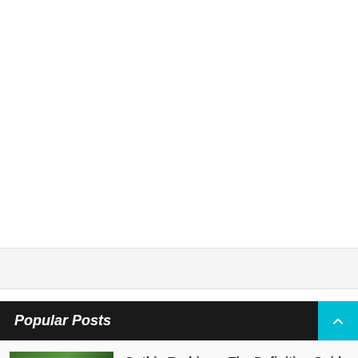Popular Posts
Gothic Fashion – The Definitive Guide To